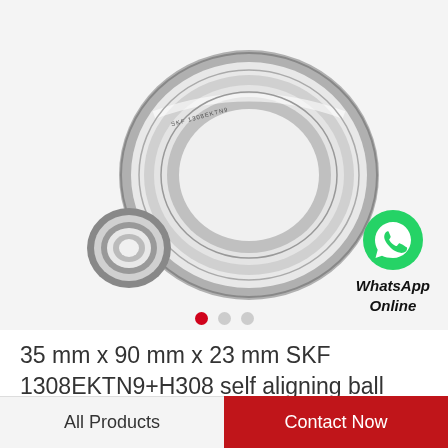[Figure (photo): SKF self-aligning ball bearing product image showing a large bearing ring and a small bearing ring on a light gray background]
WhatsApp Online
35 mm x 90 mm x 23 mm SKF 1308EKTN9+H308 self aligning ball bearings
All Products
Contact Now